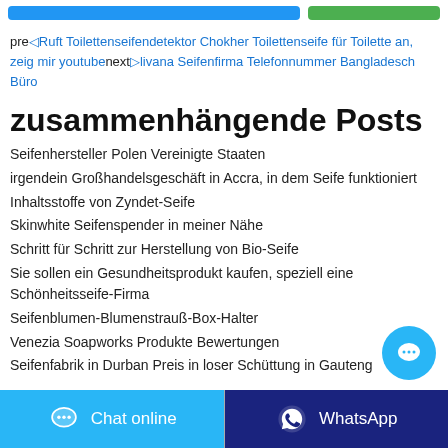prev Ruft Toilettenseifendetektor Chokher Toilettenseife für Toilette an, zeig mir youtube next livana Seifenfirma Telefonnummer Bangladesch Büro
zusammenhängende Posts
Seifenhersteller Polen Vereinigte Staaten
irgendein Großhandelsgeschäft in Accra, in dem Seife funktioniert
Inhaltsstoffe von Zyndet-Seife
Skinwhite Seifenspender in meiner Nähe
Schritt für Schritt zur Herstellung von Bio-Seife
Sie sollen ein Gesundheitsprodukt kaufen, speziell eine Schönheitsseife-Firma
Seifenblumen-Blumenstrauß-Box-Halter
Venezia Soapworks Produkte Bewertungen
Seifenfabrik in Durban Preis in loser Schüttung in Gauteng
Chat online   WhatsApp